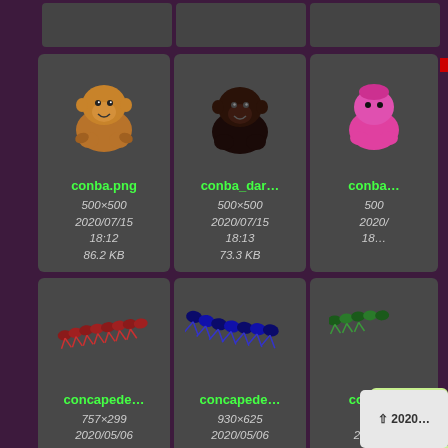[Figure (screenshot): File browser grid view showing image thumbnails with metadata. Left panel is dark purple. Grid shows file cards with animal/creature sprite thumbnails. Row 1 (partial): three card placeholders at top. Row 2: conba.png (brown ape, 500x500, 2020/07/15 18:12, 86.2 KB), conba_dar... (dark ape, 500x500, 2020/07/15 18:13, 73.3 KB), conba... (partial pink creature). Row 3: concapede... (red centipede, 757x299, 2020/05/06 09:18), concapede... (blue centipede, 930x625, 2020/05/06 09:20), conca... (partial green creature, 300x, 2020/...). Context menu visible on right side. Small popup at bottom right.]